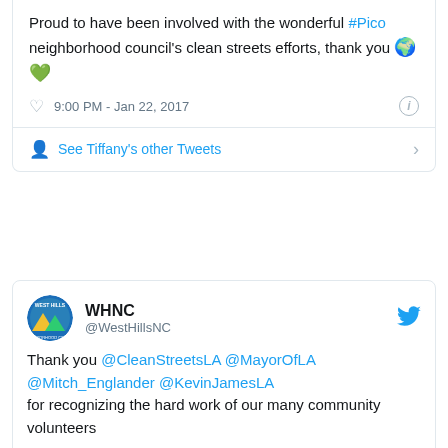Proud to have been involved with the wonderful #Pico neighborhood council's clean streets efforts, thank you 🌍💚
9:00 PM - Jan 22, 2017
See Tiffany's other Tweets
WHNC @WestHillsNC
Thank you @CleanStreetsLA @MayorOfLA @Mitch_Englander @KevinJamesLA for recognizing the hard work of our many community volunteers
[Figure (photo): Partial photo visible at bottom of second tweet, appears to be an indoor scene with a framed item]